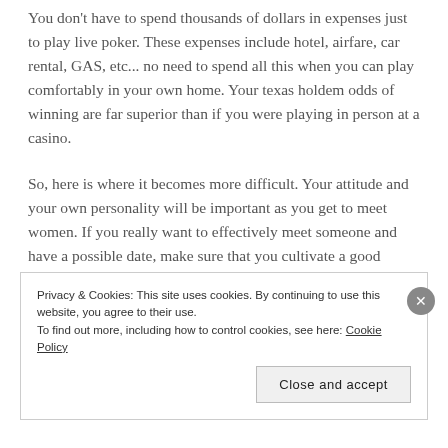You don't have to spend thousands of dollars in expenses just to play live poker. These expenses include hotel, airfare, car rental, GAS, etc... no need to spend all this when you can play comfortably in your own home. Your texas holdem odds of winning are far superior than if you were playing in person at a casino.
So, here is where it becomes more difficult. Your attitude and your own personality will be important as you get to meet women. If you really want to effectively meet someone and have a possible date, make sure that you cultivate a good attitude combined with a great personality that isn't easily ignored. As you get to meet girls, make sure
Privacy & Cookies: This site uses cookies. By continuing to use this website, you agree to their use.
To find out more, including how to control cookies, see here: Cookie Policy
Close and accept